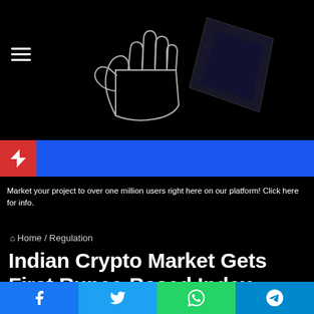[Figure (logo): Website logo with hand and geometric shapes on black background]
≡  [hamburger menu icon]
[Figure (infographic): Blue notification/breaking news bar with red lightning bolt icon on left]
Market your project to over one million users right here on our platform! Click here for info.
⌂ Home / Regulation
Indian Crypto Market Gets First Rupee-Based Index Despite